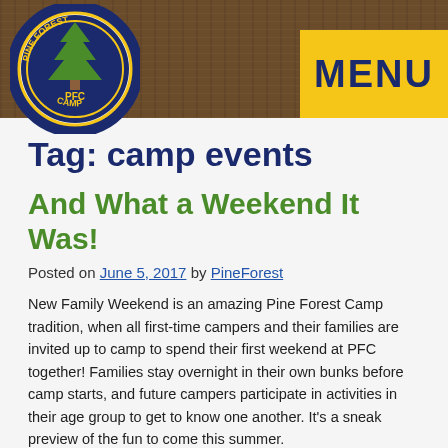[Figure (logo): Pine Forest Camp circular logo with navy blue border, tree and 'PFC' text, 'PINE FOREST CAMP' around the edge]
[Figure (other): Wood texture header bar background in brown]
MENU
Tag: camp events
And What a Weekend It Was!
Posted on June 5, 2017 by PineForest
New Family Weekend is an amazing Pine Forest Camp tradition, when all first-time campers and their families are invited up to camp to spend their first weekend at PFC together! Families stay overnight in their own bunks before camp starts, and future campers participate in activities in their age group to get to know one another. It's a sneak preview of the fun to come this summer.
Ziplining, canoeing, gaga, arts and crafts, basketball – you